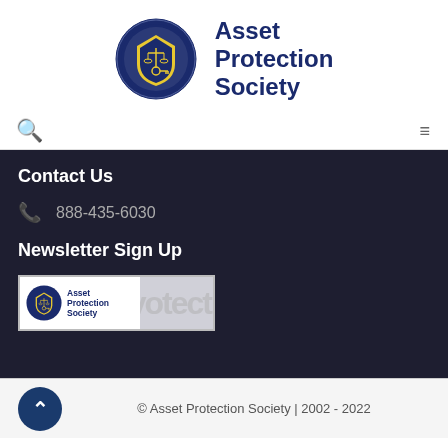[Figure (logo): Asset Protection Society logo: circular navy badge with scales of justice and a key, next to bold navy text reading 'Asset Protection Society']
[Figure (infographic): Navigation bar with search icon (magnifying glass) on left and hamburger menu (three horizontal lines) on right]
Contact Us
888-435-6030
Newsletter Sign Up
[Figure (logo): Asset Protection Society newsletter signup banner showing the logo with circular badge and 'Asset Protection Society' text on white background, with watermark text 'protect' in light gray]
© Asset Protection Society | 2002 - 2022